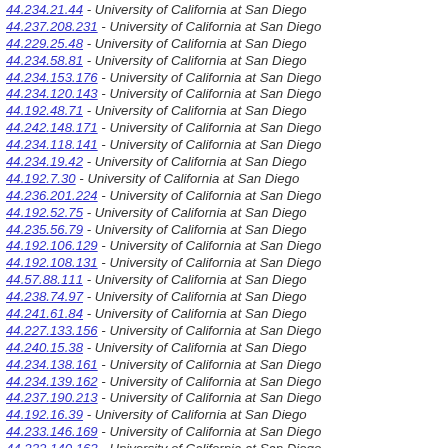44.234.21.44 - University of California at San Diego
44.237.208.231 - University of California at San Diego
44.229.25.48 - University of California at San Diego
44.234.58.81 - University of California at San Diego
44.234.153.176 - University of California at San Diego
44.234.120.143 - University of California at San Diego
44.192.48.71 - University of California at San Diego
44.242.148.171 - University of California at San Diego
44.234.118.141 - University of California at San Diego
44.234.19.42 - University of California at San Diego
44.192.7.30 - University of California at San Diego
44.236.201.224 - University of California at San Diego
44.192.52.75 - University of California at San Diego
44.235.56.79 - University of California at San Diego
44.192.106.129 - University of California at San Diego
44.192.108.131 - University of California at San Diego
44.57.88.111 - University of California at San Diego
44.238.74.97 - University of California at San Diego
44.241.61.84 - University of California at San Diego
44.227.133.156 - University of California at San Diego
44.240.15.38 - University of California at San Diego
44.234.138.161 - University of California at San Diego
44.234.139.162 - University of California at San Diego
44.237.190.213 - University of California at San Diego
44.192.16.39 - University of California at San Diego
44.233.146.169 - University of California at San Diego
44.232.140.163 - University of California at San Diego
44.237.159.182 - University of California at San Diego
44.131.193.216 - University of California at San Diego
44.240.201.224 - University of California at San Diego